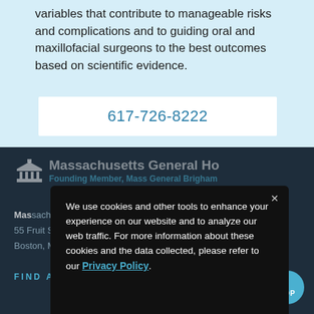variables that contribute to manageable risks and complications and to guiding oral and maxillofacial surgeons to the best outcomes based on scientific evidence.
617-726-8222
[Figure (logo): Massachusetts General Hospital logo with columned building icon]
Massachusetts General Hospital
Founding Member, Mass General Brigham
Massachusetts General Hospital
55 Fruit Street
Boston, MA
FIND A LOCATION >
We use cookies and other tools to enhance your experience on our website and to analyze our web traffic. For more information about these cookies and the data collected, please refer to our Privacy Policy.